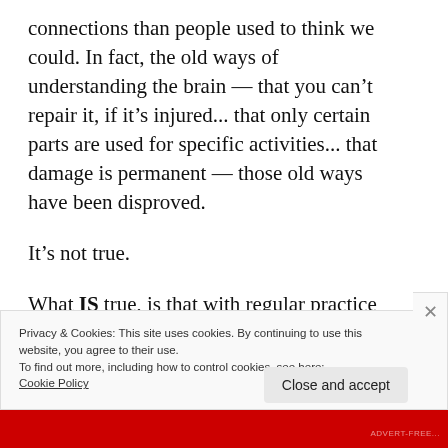connections than people used to think we could. In fact, the old ways of understanding the brain — that you can't repair it, if it's injured... that only certain parts are used for specific activities... that damage is permanent — those old ways have been disproved.
It's not true.
What IS true, is that with regular practice and the right approach, the brain can be
Privacy & Cookies: This site uses cookies. By continuing to use this website, you agree to their use.
To find out more, including how to control cookies, see here:
Cookie Policy
Close and accept